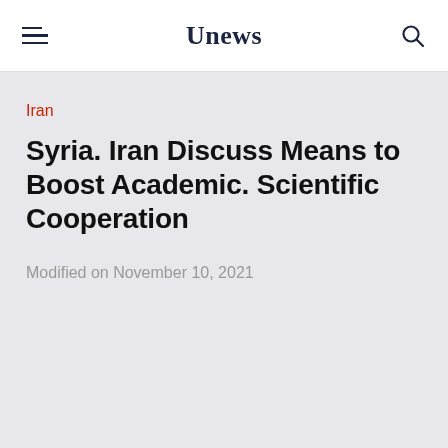Unews
Iran
Syria. Iran Discuss Means to Boost Academic. Scientific Cooperation
Modified on November 10, 2021